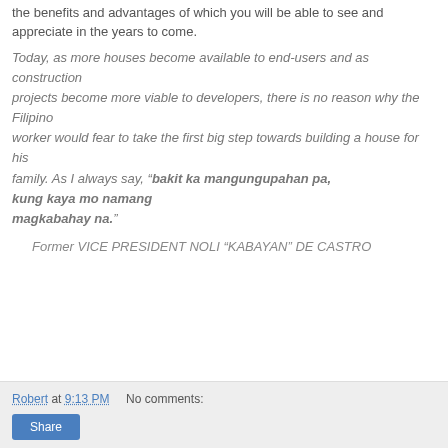the benefits and advantages of which you will be able to see and appreciate in the years to come.
Today, as more houses become available to end-users and as construction projects become more viable to developers, there is no reason why the Filipino worker would fear to take the first big step towards building a house for his family. As I always say, “bakit ka mangungupahan pa, kung kaya mo namang magkabahay na.”
Former VICE PRESIDENT NOLI “KABAYAN” DE CASTRO
Robert at 9:13 PM   No comments: